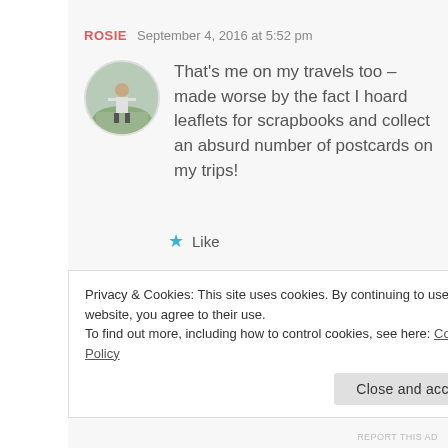ROSIE   September 4, 2016 at 5:52 pm
[Figure (photo): Circular avatar photo of a person standing outdoors on a rocky area with green landscape]
That's me on my travels too – made worse by the fact I hoard leaflets for scrapbooks and collect an absurd number of postcards on my trips!
★ Like
EMILYGOESFORTH   September 4, 2016 at 5:53 pm
Privacy & Cookies: This site uses cookies. By continuing to use this website, you agree to their use.
To find out more, including how to control cookies, see here: Cookie Policy
Close and accept